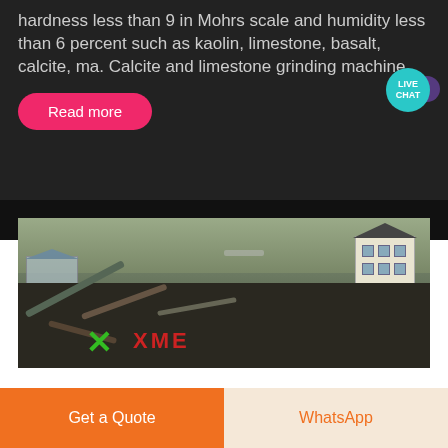hardness less than 9 in Mohrs scale and humidity less than 6 percent such as kaolin, limestone, basalt, calcite, ma. Calcite and limestone grinding machine
Read more
[Figure (other): Live Chat widget with teal circular bubble and purple blob]
[Figure (photo): Aerial/ground view of an industrial quarry or mining site with conveyors, machinery, sheds, and buildings in background. XME logo text visible in red and green.]
Get a Quote
WhatsApp